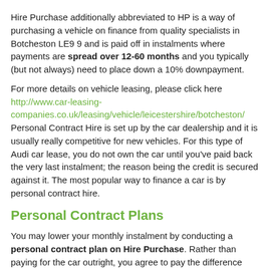Hire Purchase additionally abbreviated to HP is a way of purchasing a vehicle on finance from quality specialists in Botcheston LE9 9 and is paid off in instalments where payments are spread over 12-60 months and you typically (but not always) need to place down a 10% downpayment.
For more details on vehicle leasing, please click here http://www.car-leasing-companies.co.uk/leasing/vehicle/leicestershire/botcheston/ Personal Contract Hire is set up by the car dealership and it is usually really competitive for new vehicles. For this type of Audi car lease, you do not own the car until you've paid back the very last instalment; the reason being the credit is secured against it. The most popular way to finance a car is by personal contract hire.
Personal Contract Plans
You may lower your monthly instalment by conducting a personal contract plan on Hire Purchase. Rather than paying for the car outright, you agree to pay the difference between the selling price and price of reselling back to the dealership. The rest is the